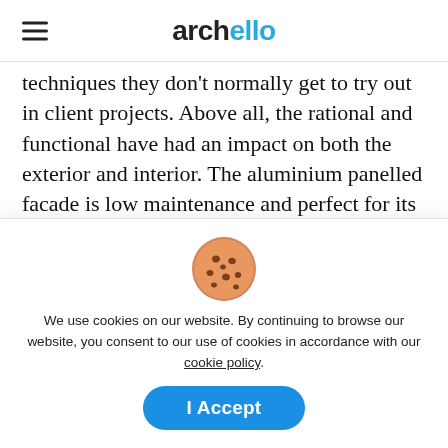archello
techniques they don't normally get to try out in client projects. Above all, the rational and functional have had an impact on both the exterior and interior. The aluminium panelled facade is low maintenance and perfect for its exposed position by the Kattegat sea. The shiny surface reflects the sky and changes character depending on the weather. From cold blue in the morning to warm and golden in the evening.
[Figure (illustration): Cookie emoji icon — round brown cookie with chocolate chips]
We use cookies on our website. By continuing to browse our website, you consent to our use of cookies in accordance with our cookie policy.
I Accept